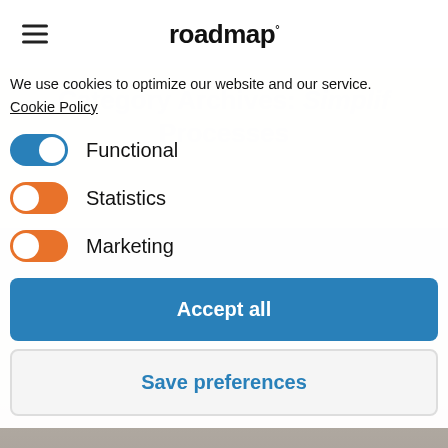roadmap°
Category Archives: Simplify Processes
We use cookies to optimize our website and our service.
Cookie Policy
Functional
Statistics
Marketing
Accept all
Save preferences